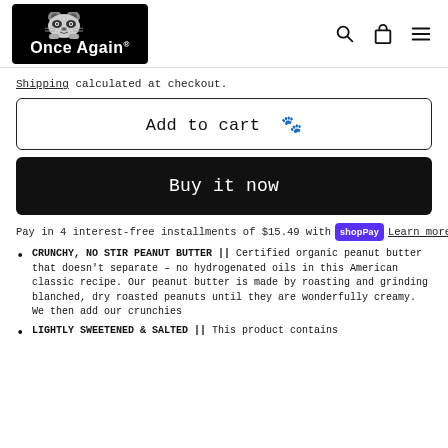[Figure (logo): Once Again brand logo with raccoon illustration on black background]
Shipping calculated at checkout.
Add to cart 🐾
Buy it now
Pay in 4 interest-free installments of $15.49 with Shop Pay Learn more
CRUNCHY, NO STIR PEANUT BUTTER || Certified organic peanut butter that doesn't separate – no hydrogenated oils in this American classic recipe. Our peanut butter is made by roasting and grinding blanched, dry roasted peanuts until they are wonderfully creamy. We then add our crunchies
LIGHTLY SWEETENED & SALTED || This product contains